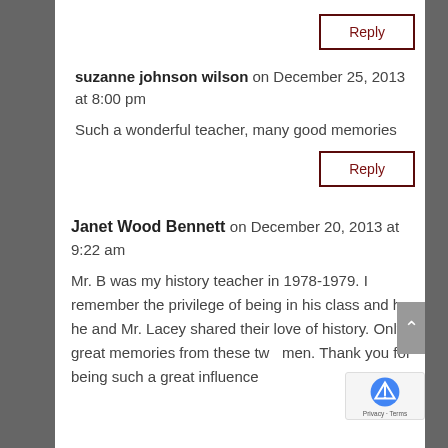Reply (button)
suzanne johnson wilson on December 25, 2013 at 8:00 pm
Such a wonderful teacher, many good memories
Reply (button)
Janet Wood Bennett on December 20, 2013 at 9:22 am
Mr. B was my history teacher in 1978-1979. I remember the privilege of being in his class and how he and Mr. Lacey shared their love of history. Only great memories from these two men. Thank you for being such a great influence